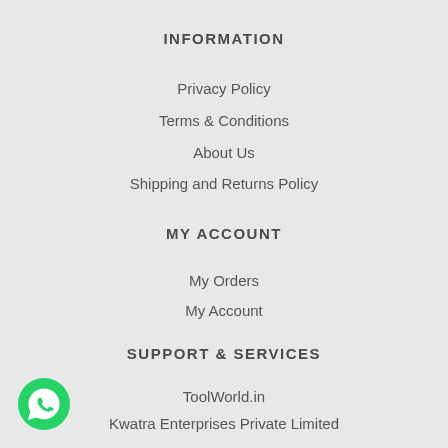INFORMATION
Privacy Policy
Terms & Conditions
About Us
Shipping and Returns Policy
MY ACCOUNT
My Orders
My Account
SUPPORT & SERVICES
ToolWorld.in
Kwatra Enterprises Private Limited
616, Old Lajpat Rai Market, Chandni Chowk, Delhi- 110006